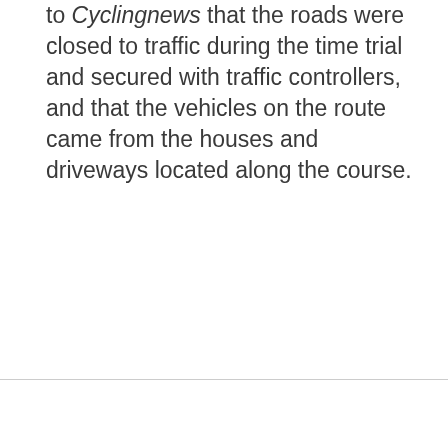to Cyclingnews that the roads were closed to traffic during the time trial and secured with traffic controllers, and that the vehicles on the route came from the houses and driveways located along the course.